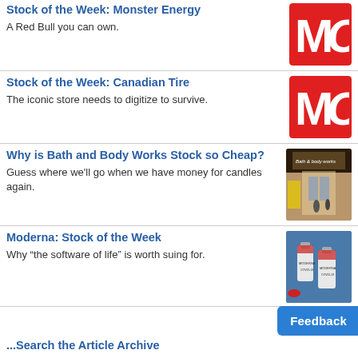Stock of the Week: Monster Energy
A Red Bull you can own.
[Figure (logo): MC logo — red background with white M and C letters]
Stock of the Week: Canadian Tire
The iconic store needs to digitize to survive.
[Figure (logo): MC logo — red background with white M and C letters]
Why is Bath and Body Works Stock so Cheap?
Guess where we'll go when we have money for candles again.
[Figure (photo): Photo of a Bath & Body Works store entrance in a mall]
Moderna: Stock of the Week
Why “the software of life” is worth suing for.
[Figure (photo): Photo of two Moderna vaccine vials on a blue background]
...Search the Article Archive